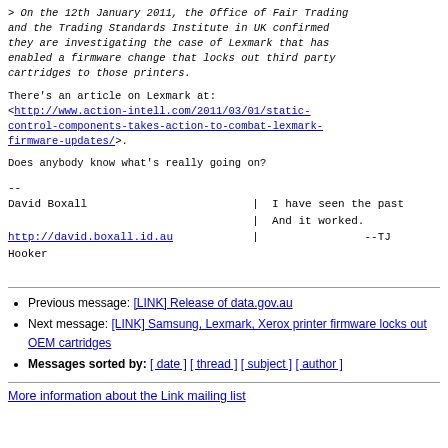> On the 12th January 2011, the Office of Fair Trading and the Trading Standards Institute in UK confirmed they are investigating the case of Lexmark that has enabled a firmware change that locks out third party cartridges to those printers.
There's an article on Lexmark at: <http://www.action-intell.com/2011/03/01/static-control-components-takes-action-to-combat-lexmark-firmware-updates/>.
Does anybody know what's really going on?
--
David Boxall                         |  I have seen the past
                                     |  And it worked.
http://david.boxall.id.au            |                --TJ
Hooker
Previous message: [LINK] Release of data.gov.au
Next message: [LINK] Samsung, Lexmark, Xerox printer firmware locks out OEM cartridges
Messages sorted by: [ date ] [ thread ] [ subject ] [ author ]
More information about the Link mailing list